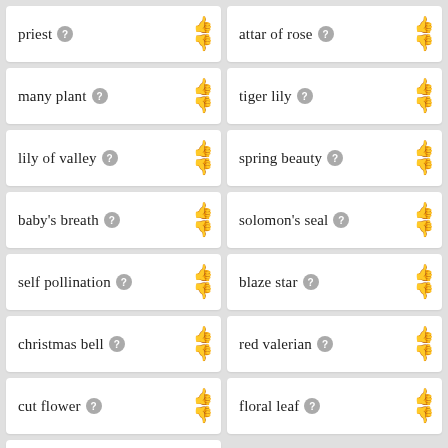priest
attar of rose
many plant
tiger lily
lily of valley
spring beauty
baby's breath
solomon's seal
self pollination
blaze star
christmas bell
red valerian
cut flower
floral leaf
mexican marigold